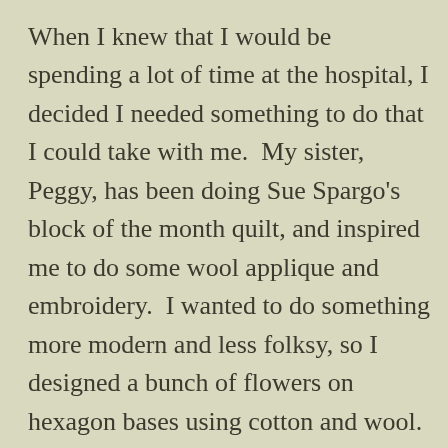When I knew that I would be spending a lot of time at the hospital, I decided I needed something to do that I could take with me.  My sister, Peggy, has been doing Sue Spargo's block of the month quilt, and inspired me to do some wool applique and embroidery.  I wanted to do something more modern and less folksy, so I designed a bunch of flowers on hexagon bases using cotton and wool.  With a couple of books, and watching Mary Corbet's “how to videos”, I set out to learn embroidery as I went.  I found this kind of work to be very meditative and calming and was just what I needed at the time and the rest is history.